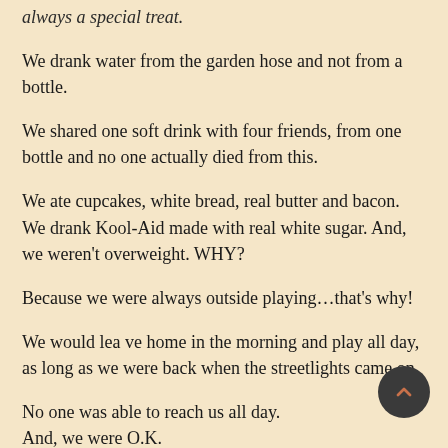always a special treat.
We drank water from the garden hose and not from a bottle.
We shared one soft drink with four friends, from one bottle and no one actually died from this.
We ate cupcakes, white bread, real butter and bacon. We drank Kool-Aid made with real white sugar. And, we weren't overweight. WHY?
Because we were always outside playing…that's why!
We would lea ve home in the morning and play all day, as long as we were back when the streetlights came on.
No one was able to reach us all day.
And, we were O.K.
We would spend hours building our go-carts out of scraps and then ride them down the hill, only to find out we forgot the brakes. After running into the bushes a few times, we